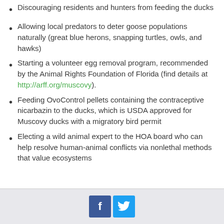Discouraging residents and hunters from feeding the ducks
Allowing local predators to deter goose populations naturally (great blue herons, snapping turtles, owls, and hawks)
Starting a volunteer egg removal program, recommended by the Animal Rights Foundation of Florida (find details at http://arff.org/muscovy).
Feeding OvoControl pellets containing the contraceptive nicarbazin to the ducks, which is USDA approved for Muscovy ducks with a migratory bird permit
Electing a wild animal expert to the HOA board who can help resolve human-animal conflicts via nonlethal methods that value ecosystems
[Facebook] [Twitter]